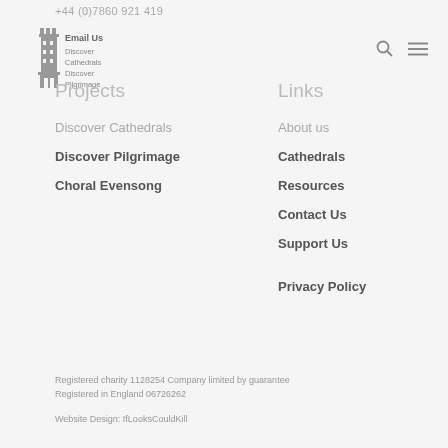+44 (0)7860 921 419
[Figure (logo): Cathedral tower logo with text: Email Us, Discover Cathedrals, Discover Pilgrimage]
Projects
Links
Discover Cathedrals
Discover Pilgrimage
Choral Evensong
About us
Cathedrals
Resources
Contact Us
Support Us
Privacy Policy
Registered charity 1128254 Company limited by guarantee Registered in England 06726262
Website Design: IfLooksCouldKill